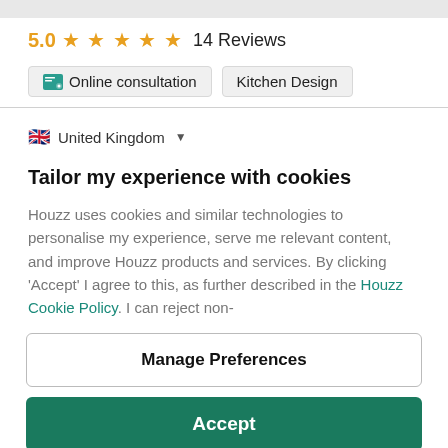5.0 ★★★★★ 14 Reviews
Online consultation   Kitchen Design
United Kingdom ▼
Tailor my experience with cookies
Houzz uses cookies and similar technologies to personalise my experience, serve me relevant content, and improve Houzz products and services. By clicking 'Accept' I agree to this, as further described in the Houzz Cookie Policy. I can reject non-
Manage Preferences
Accept